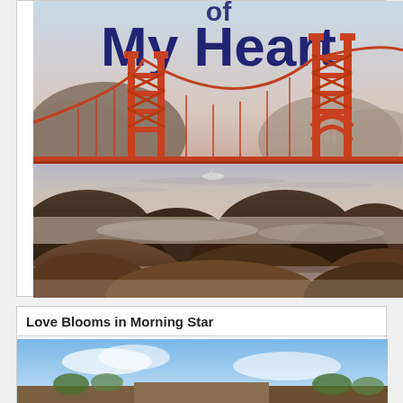[Figure (photo): Book cover showing the Golden Gate Bridge in San Francisco with rocky shoreline in the foreground. The text 'My Heart' is visible in large dark blue letters at the top of the image.]
Love Blooms in Morning Star
[Figure (photo): Partial view of what appears to be another book cover showing a blue sky and landscape scene at the bottom of the page.]